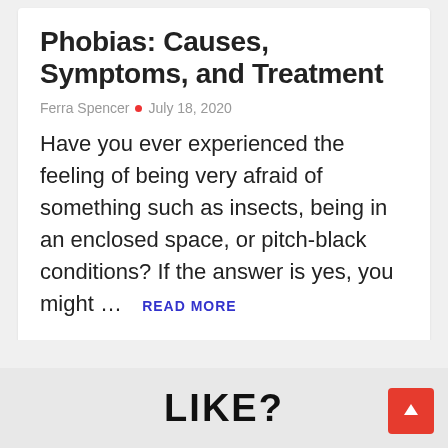Phobias: Causes, Symptoms, and Treatment
Ferra Spencer • July 18, 2020
Have you ever experienced the feeling of being very afraid of something such as insects, being in an enclosed space, or pitch-black conditions? If the answer is yes, you might ... READ MORE
anxiety • anxiety disorder • excessive fears of something • panic attacks due to fears • phobia • treatment for phobia
types of phobia
12 Comments
LIKE?